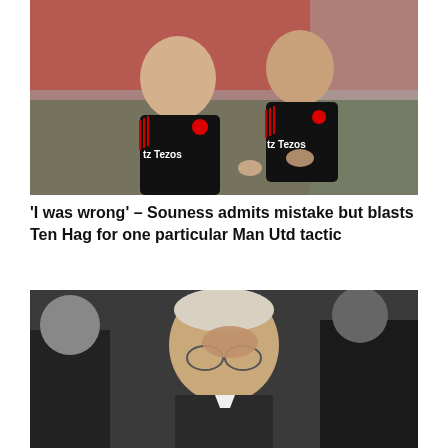[Figure (photo): Two Manchester United coaching staff members in black Adidas training kits with Tezos sponsor logo, standing on a football pitch with red stadium seats in background. The older man on the left and Erik ten Hag on the right appear to be in discussion.]
‘I was wrong’ – Souness admits mistake but blasts Ten Hag for one particular Man Utd tactic
[Figure (photo): Elderly man in suit with striped tie and glasses, rubbing his eye, surrounded by other suited individuals in a stadium setting. Advertisement overlay from 'Bibi and Tina YouTube Channel' with Subscribe button.]